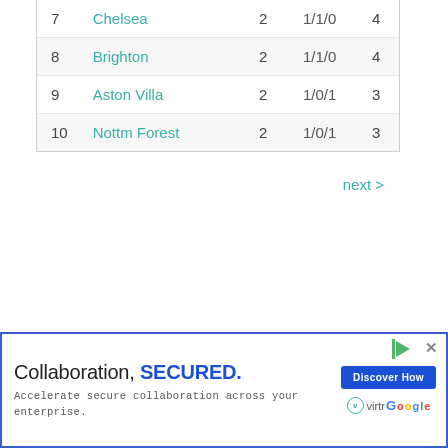| # | Team | GP | W/D/L | Pts |
| --- | --- | --- | --- | --- |
| 7 | Chelsea | 2 | 1/1/0 | 4 |
| 8 | Brighton | 2 | 1/1/0 | 4 |
| 9 | Aston Villa | 2 | 1/0/1 | 3 |
| 10 | Nottm Forest | 2 | 1/0/1 | 3 |
next >
[Figure (other): Collapse/expand chevron button]
Collaboration, SECURED. Accelerate secure collaboration across your enterprise. Discover How | virtru google